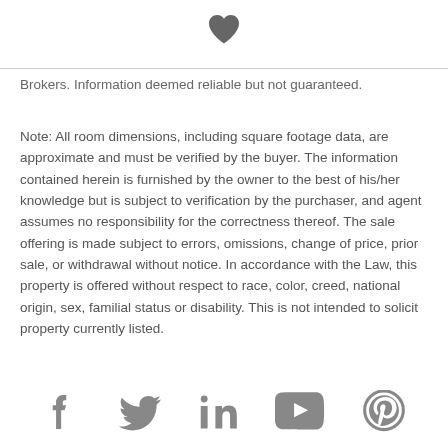[Figure (illustration): Dark gray heart icon centered at top of page]
Brokers. Information deemed reliable but not guaranteed.
Note: All room dimensions, including square footage data, are approximate and must be verified by the buyer. The information contained herein is furnished by the owner to the best of his/her knowledge but is subject to verification by the purchaser, and agent assumes no responsibility for the correctness thereof. The sale offering is made subject to errors, omissions, change of price, prior sale, or withdrawal without notice. In accordance with the Law, this property is offered without respect to race, color, creed, national origin, sex, familial status or disability. This is not intended to solicit property currently listed.
[Figure (illustration): Social media icons row at bottom: Facebook, Twitter, LinkedIn, YouTube, Pinterest]